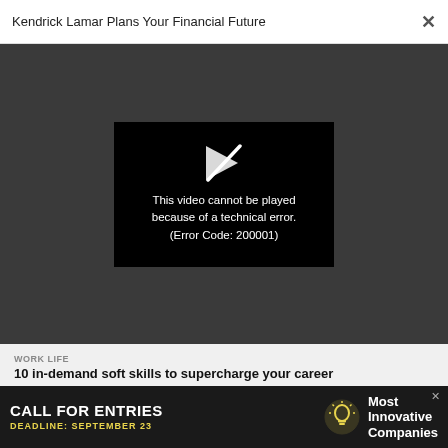Kendrick Lamar Plans Your Financial Future ×
[Figure (screenshot): Video player showing error: 'This video cannot be played because of a technical error. (Error Code: 200001)' with a broken play button icon on black background, set within a dark gray modal.]
WORK LIFE
10 in-demand soft skills to supercharge your career
WORK LIFE
This his how job stress can worsen your health, according to science
[Figure (infographic): Advertisement banner: 'CALL FOR ENTRIES DEADLINE: SEPTEMBER 23' with lightbulb icon and 'Most Innovative Companies' text on dark background.]